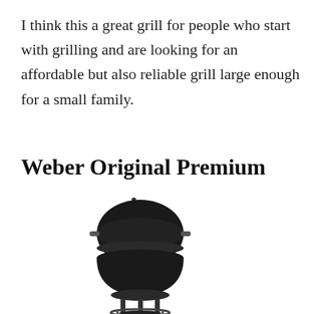I think this a great grill for people who start with grilling and are looking for an affordable but also reliable grill large enough for a small family.
Weber Original Premium
[Figure (photo): A black Weber kettle charcoal grill with lid, viewed from a slight angle showing the round bowl shape, legs, and handle.]